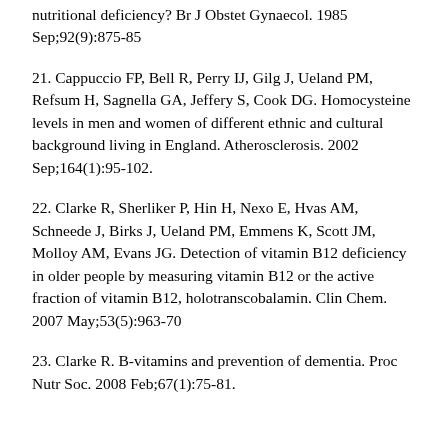nutritional deficiency? Br J Obstet Gynaecol. 1985 Sep;92(9):875-85
21. Cappuccio FP, Bell R, Perry IJ, Gilg J, Ueland PM, Refsum H, Sagnella GA, Jeffery S, Cook DG. Homocysteine levels in men and women of different ethnic and cultural background living in England. Atherosclerosis. 2002 Sep;164(1):95-102.
22. Clarke R, Sherliker P, Hin H, Nexo E, Hvas AM, Schneede J, Birks J, Ueland PM, Emmens K, Scott JM, Molloy AM, Evans JG. Detection of vitamin B12 deficiency in older people by measuring vitamin B12 or the active fraction of vitamin B12, holotranscobalamin. Clin Chem. 2007 May;53(5):963-70
23. Clarke R. B-vitamins and prevention of dementia. Proc Nutr Soc. 2008 Feb;67(1):75-81.